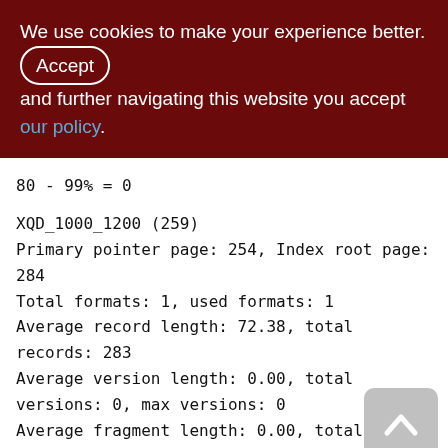We use cookies to make your experience better. By Accept and further navigating this website you accept our policy.
XQD_1000_1200 (259)
Primary pointer page: 254, Index root page: 284
Total formats: 1, used formats: 1
Average record length: 72.38, total records: 283
Average version length: 0.00, total versions: 0, max versions: 0
Average fragment length: 0.00, total fragments: 0, max fragments: 0